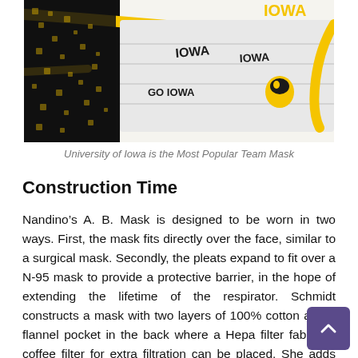[Figure (photo): Close-up photo of a fabric face mask with University of Iowa Hawkeyes themed pattern (black and gold with Hawkeye logos), with a yellow elastic strap visible.]
University of Iowa is the Most Popular Team Mask
Construction Time
Nandino’s A. B. Mask is designed to be worn in two ways. First, the mask fits directly over the face, similar to a surgical mask. Secondly, the pleats expand to fit over a N-95 mask to provide a protective barrier, in the hope of extending the lifetime of the respirator. Schmidt constructs a mask with two layers of 100% cotton and a flannel pocket in the back where a Hepa filter fabric or coffee filter for extra filtration can be placed. She adds wire around the nose to secure better fit. She first made them one by one in thir minutes. But she learned by doing each step on twenty